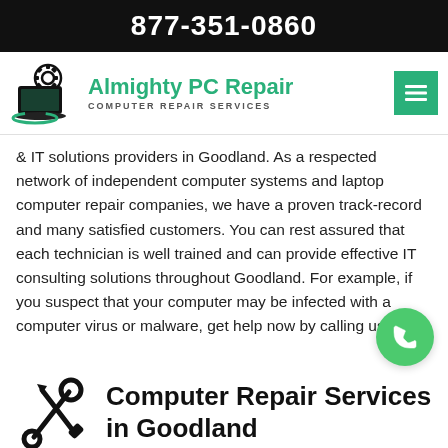877-351-0860
[Figure (logo): Almighty PC Repair logo with laptop and gear icon in black and green, company name in green bold text, subtitle COMPUTER REPAIR SERVICES]
& IT solutions providers in Goodland. As a respected network of independent computer systems and laptop computer repair companies, we have a proven track-record and many satisfied customers. You can rest assured that each technician is well trained and can provide effective IT consulting solutions throughout Goodland. For example, if you suspect that your computer may be infected with a computer virus or malware, get help now by calling us.
Computer Repair Services in Goodland